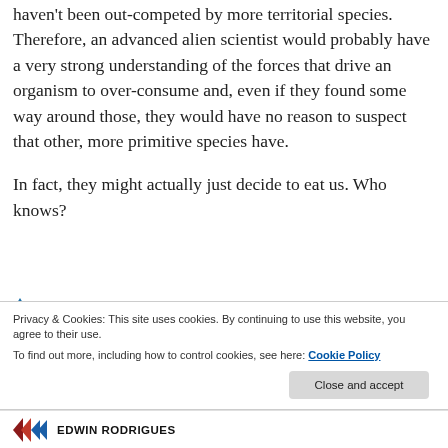haven't been out-competed by more territorial species. Therefore, an advanced alien scientist would probably have a very strong understanding of the forces that drive an organism to over-consume and, even if they found some way around those, they would have no reason to suspect that other, more primitive species have.
In fact, they might actually just decide to eat us. Who knows?
Privacy & Cookies: This site uses cookies. By continuing to use this website, you agree to their use.
To find out more, including how to control cookies, see here: Cookie Policy
EDWIN RODRIGUES